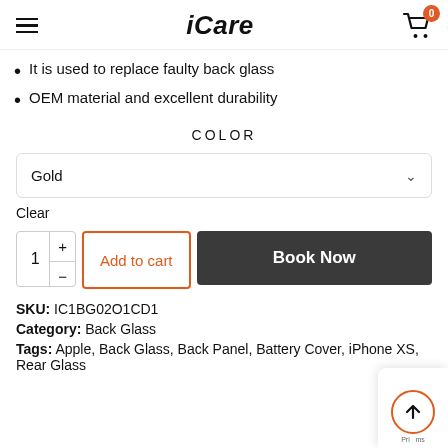iCare
It is used to replace faulty back glass
OEM material and excellent durability
COLOR
Gold
Clear
1  +  -  Add to cart  Book Now
SKU: IC1BG02O1CD1
Category: Back Glass
Tags: Apple, Back Glass, Back Panel, Battery Cover, iPhone XS, Rear Glass